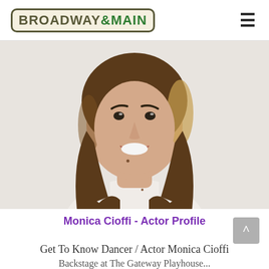BROADWAY & MAIN
[Figure (photo): Headshot of actress Monica Cioffi, smiling woman with shoulder-length brown hair with highlights, wearing a white top, on a white background.]
Monica Cioffi - Actor Profile
Get To Know Dancer / Actor Monica Cioffi Backstage at The Gateway Playhouse...